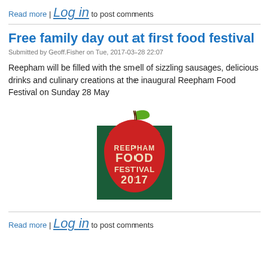Read more | Log in to post comments
Free family day out at first food festival
Submitted by Geoff.Fisher on Tue, 2017-03-28 22:07
Reepham will be filled with the smell of sizzling sausages, delicious drinks and culinary creations at the inaugural Reepham Food Festival on Sunday 28 May
[Figure (logo): Reepham Food Festival 2017 logo — a red apple shape with a green leaf, overlaid on a dark green square background, with text 'REEPHAM FOOD FESTIVAL 2017' in cream/white lettering]
Read more | Log in to post comments